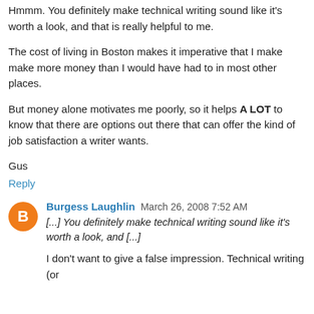Hmmm. You definitely make technical writing sound like it's worth a look, and that is really helpful to me.
The cost of living in Boston makes it imperative that I make make more money than I would have had to in most other places.
But money alone motivates me poorly, so it helps A LOT to know that there are options out there that can offer the kind of job satisfaction a writer wants.
Gus
Reply
Burgess Laughlin  March 26, 2008 7:52 AM
[...] You definitely make technical writing sound like it's worth a look, and [...]
I don't want to give a false impression. Technical writing (or